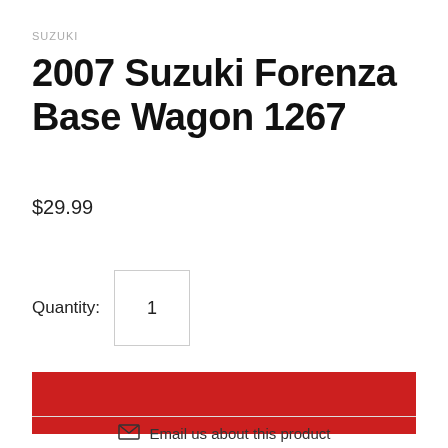SUZUKI
2007 Suzuki Forenza Base Wagon 1267
$29.99
Quantity: 1
Email us about this product